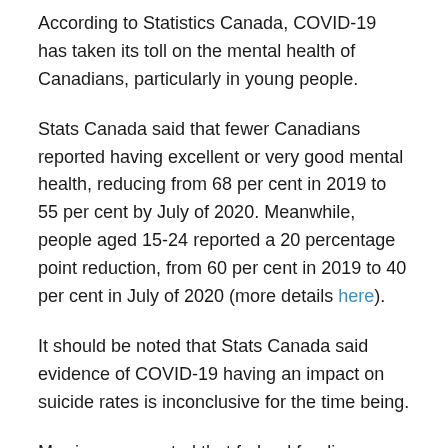According to Statistics Canada, COVID-19 has taken its toll on the mental health of Canadians, particularly in young people.
Stats Canada said that fewer Canadians reported having excellent or very good mental health, reducing from 68 per cent in 2019 to 55 per cent by July of 2020. Meanwhile, people aged 15-24 reported a 20 percentage point reduction, from 60 per cent in 2019 to 40 per cent in July of 2020 (more details here).
It should be noted that Stats Canada said evidence of COVID-19 having an impact on suicide rates is inconclusive for the time being.
Morrison suggested that federal funding should be used to increase ICU capacity to help public health better deal with the pandemic.